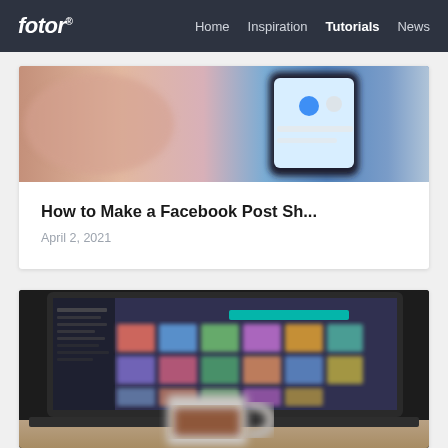fotor® | Home  Inspiration  Tutorials  News
[Figure (screenshot): Website screenshot showing Fotor blog with navigation bar and two article cards. First card shows a smartphone image with title 'How to Make a Facebook Post Sh...' dated April 2, 2021. Second card shows a laptop with photo editing software and a coffee cup.]
How to Make a Facebook Post Sh...
April 2, 2021